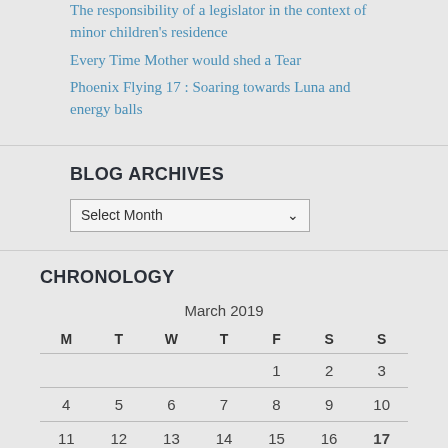The responsibility of a legislator in the context of minor children's residence
Every Time Mother would shed a Tear
Phoenix Flying 17 : Soaring towards Luna and energy balls
BLOG ARCHIVES
Select Month
CHRONOLOGY
| M | T | W | T | F | S | S |
| --- | --- | --- | --- | --- | --- | --- |
|  |  |  |  | 1 | 2 | 3 |
| 4 | 5 | 6 | 7 | 8 | 9 | 10 |
| 11 | 12 | 13 | 14 | 15 | 16 | 17 |